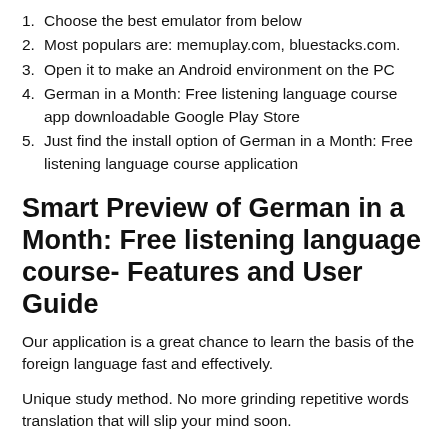1. Choose the best emulator from below
2. Most populars are: memuplay.com, bluestacks.com.
3. Open it to make an Android environment on the PC
4. German in a Month: Free listening language course app downloadable Google Play Store
5. Just find the install option of German in a Month: Free listening language course application
Smart Preview of German in a Month: Free listening language course- Features and User Guide
Our application is a great chance to learn the basis of the foreign language fast and effectively.
Unique study method. No more grinding repetitive words translation that will slip your mind soon.
You're supposed to figure out the meaning like children learn